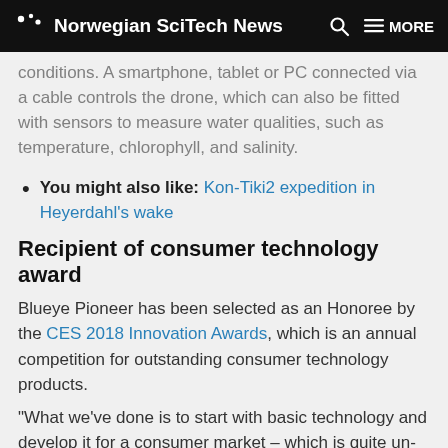Norwegian SciTech News
conditions. A smartphone, tablet or PC connected via a cable controls the drone, which can also be fitted with sensors to measure water qualities, such as temperature, chlorophyll, and salinity.
You might also like: Kon-Tiki2 expedition in Heyerdahl's wake
Recipient of consumer technology award
Blueye Pioneer has been selected as an Honoree by the CES 2018 Innovation Awards, which is an annual competition for outstanding consumer technology products.
"What we've done is to start with basic technology and develop it for a consumer market – which is quite un-Norwegian its approach. But we think it has good